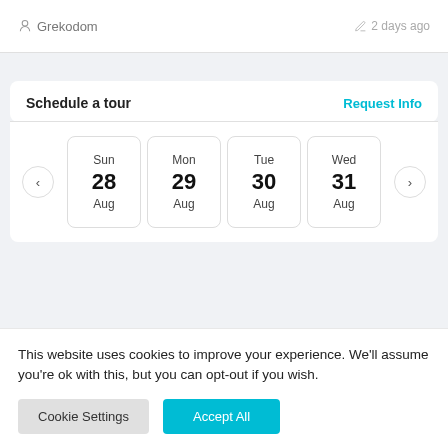Grekodom
2 days ago
Schedule a tour
Request Info
Sun 28 Aug
Mon 29 Aug
Tue 30 Aug
Wed 31 Aug
This website uses cookies to improve your experience. We'll assume you're ok with this, but you can opt-out if you wish.
Cookie Settings
Accept All